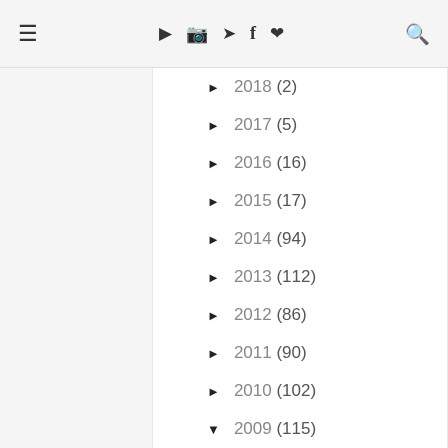≡ ▶ [instagram] ▶ f ♥ [search]
► 2018 (2)
► 2017 (5)
► 2016 (16)
► 2015 (17)
► 2014 (94)
► 2013 (112)
► 2012 (86)
► 2011 (90)
► 2010 (102)
▼ 2009 (115)
► December (10)
► November (11)
▼ October (10)
How To Apply Wonder Eyelid